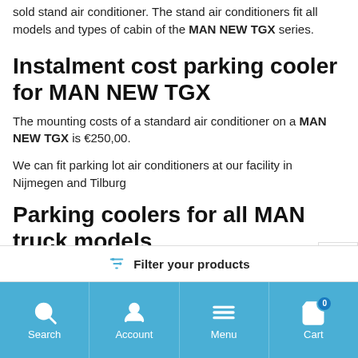sold stand air conditioner. The stand air conditioners fit all models and types of cabin of the MAN NEW TGX series.
Instalment cost parking cooler for MAN NEW TGX
The mounting costs of a standard air conditioner on a MAN NEW TGX is €250,00.
We can fit parking lot air conditioners at our facility in Nijmegen and Tilburg
Parking coolers for all MAN truck models
Filter your products
Search  Account  Menu  Cart